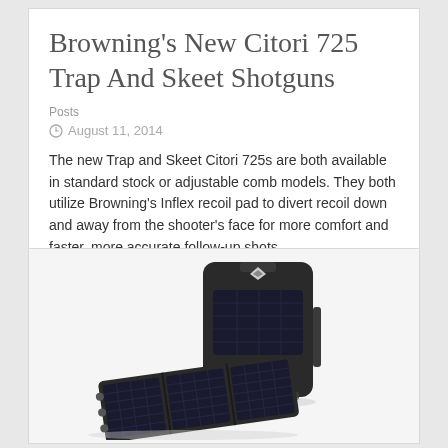Browning's New Citori 725 Trap And Skeet Shotguns
Posts
August 11, 2014
The new Trap and Skeet Citori 725s are both available in standard stock or adjustable comb models. They both utilize Browning’s Inflex recoil pad to divert recoil down and away from the shooter’s face for more comfort and faster, more accurate follow-up shots.
[Figure (photo): A black tactical backpack with solar panel on the front, shown alongside a folded solar charging panel, both displayed on a white background.]